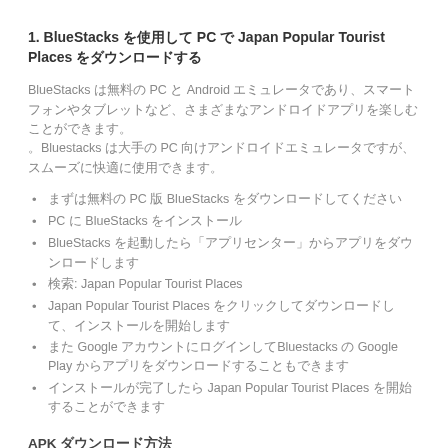1. BlueStacks を使用して PC で Japan Popular Tourist Places をダウンロードする
BlueStacks は無料の PC と Android エミュレータであり、スマートフォンやタブレットなど、さまざまなアンドロイドアプリを楽しむことができます。Bluestacks は大手の PC 向けアンドロイドエミュレータですが、スムーズに快適に使用できます。
まずは無料の PC 版 BlueStacks をダウンロードしてください
PC に BlueStacks をインストール
BlueStacks を起動したら「アプリセンター」からアプリをダウンロードします
検索: Japan Popular Tourist Places
Japan Popular Tourist Places をクリックしてダウンロードして、インストールを開始します
また Google アカウントにログインしてBluestacks の Google Play からアプリをダウンロードすることもできます
インストールが完了したら Japan Popular Tourist Places を開始することができます
APK ダウンロード方法
APK ダウンロードする (18.2 MB)
直接 PlayStore からダウンロード
ApkPure 経由する